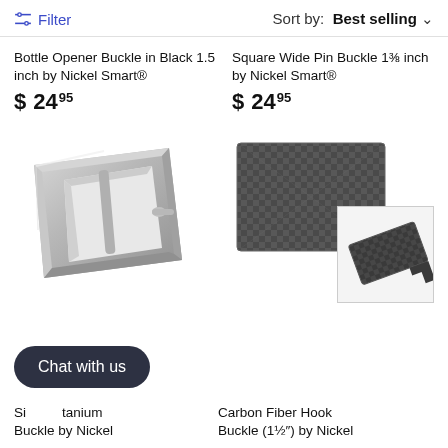Filter   Sort by: Best selling
Bottle Opener Buckle in Black 1.5 inch by Nickel Smart®
$ 24⁹⁵
Square Wide Pin Buckle 1⅜ inch by Nickel Smart®
$ 24⁹⁵
[Figure (photo): Silver metal belt buckle with rectangular frame and center bar pin]
[Figure (photo): Carbon fiber textured flat hook buckle, dark gray, with smaller angled thumbnail view]
Si... tanium Buckle by Nickel
Carbon Fiber Hook Buckle (1½") by Nickel